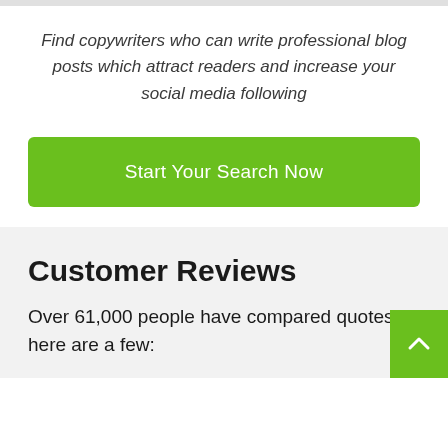Find copywriters who can write professional blog posts which attract readers and increase your social media following
Start Your Search Now
Customer Reviews
Over 61,000 people have compared quotes, here are a few: